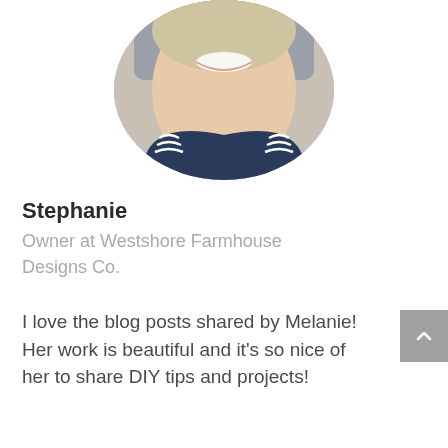[Figure (photo): Circular cropped profile photo of a smiling woman with blonde hair, wearing a dark blue top with white wavy stripe details, seated in a car.]
Stephanie
Owner at Westshore Farmhouse Designs Co.
I love the blog posts shared by Melanie! Her work is beautiful and it's so nice of her to share DIY tips and projects!